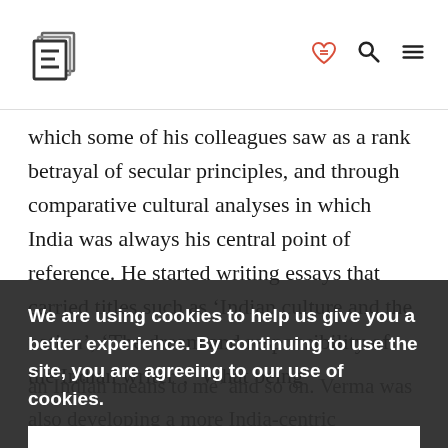[Logo: E] [heart icon] [search icon] [menu icon]
which some of his colleagues saw as a rank betrayal of secular principles, and through comparative cultural analyses in which India was always his central point of reference. He started writing essays that carried titles such as ‘Indian culture and the nation’, ‘The dream and responsibility of the Indian writer’, ‘What being an Indian means to me’ and so on. Verma was also developing a more India-centric understanding of Europe at this point. Indeed, he was able to detect strains of what he recognized
We are using cookies to help us give you a better experience. By continuing to use the site, you are agreeing to our use of cookies.
Confirm
(politically significant phrases that Verma used, although it wasn’t politically-inspired) ‘Goethe’s